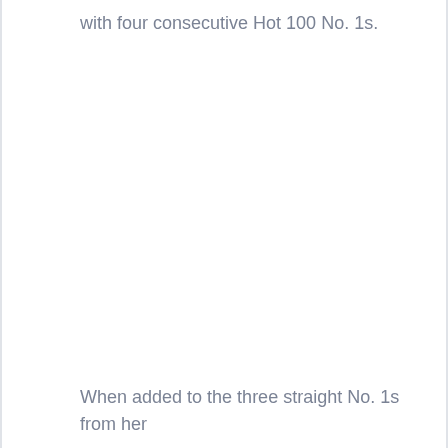with four consecutive Hot 100 No. 1s.
When added to the three straight No. 1s from her